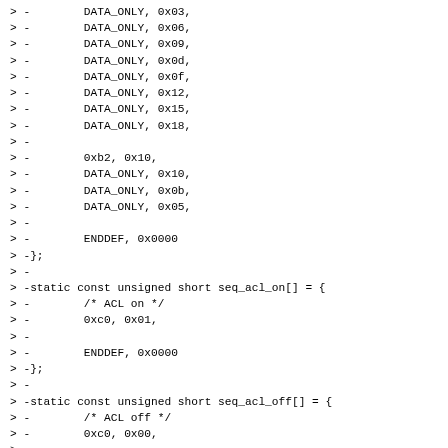> -        DATA_ONLY, 0x03,
> -        DATA_ONLY, 0x06,
> -        DATA_ONLY, 0x09,
> -        DATA_ONLY, 0x0d,
> -        DATA_ONLY, 0x0f,
> -        DATA_ONLY, 0x12,
> -        DATA_ONLY, 0x15,
> -        DATA_ONLY, 0x18,
> -
> -        0xb2, 0x10,
> -        DATA_ONLY, 0x10,
> -        DATA_ONLY, 0x0b,
> -        DATA_ONLY, 0x05,
> -
> -        ENDDEF, 0x0000
> -};
> -
> -static const unsigned short seq_acl_on[] = {
> -        /* ACL on */
> -        0xc0, 0x01,
> -
> -        ENDDEF, 0x0000
> -};
> -
> -static const unsigned short seq_acl_off[] = {
> -        /* ACL off */
> -        0xc0, 0x00,
> -
> -        ENDDEF, 0x0000
> -};